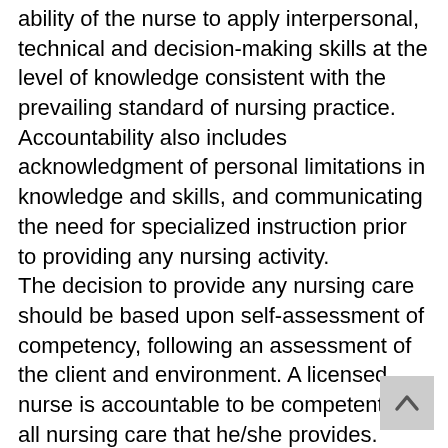ability of the nurse to apply interpersonal, technical and decision-making skills at the level of knowledge consistent with the prevailing standard of nursing practice. Accountability also includes acknowledgment of personal limitations in knowledge and skills, and communicating the need for specialized instruction prior to providing any nursing activity. The decision to provide any nursing care should be based upon self-assessment of competency, following an assessment of the client and environment. A licensed nurse is accountable to be competent for all nursing care that he/she provides. Competence means the ability of the nurse to apply interpersonal, technical and decision-making skills at the level of knowledge consistent with the prevailing standard for the nursing activity being applied. Accountability also includes